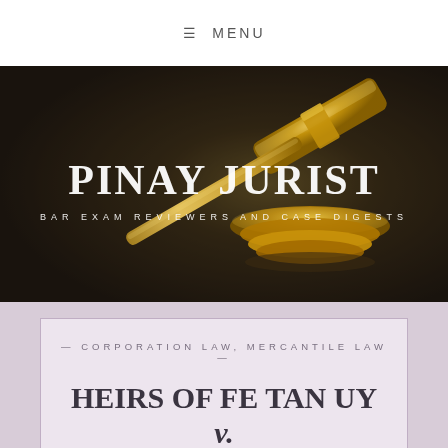≡ MENU
[Figure (photo): Gold gavel on dark background with 'PINAY JURIST' title and subtitle 'BAR EXAM REVIEWERS AND CASE DIGESTS' overlaid in white text]
— CORPORATION LAW, MERCANTILE LAW —
HEIRS OF FE TAN UY v.